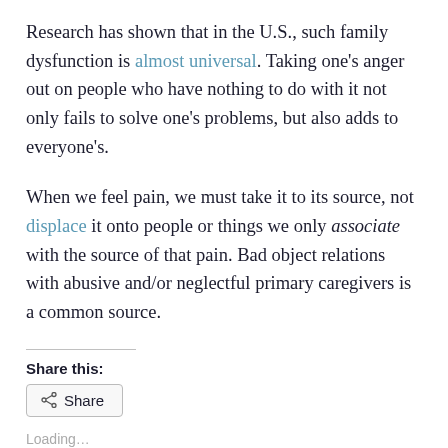Research has shown that in the U.S., such family dysfunction is almost universal. Taking one's anger out on people who have nothing to do with it not only fails to solve one's problems, but also adds to everyone's.
When we feel pain, we must take it to its source, not displace it onto people or things we only associate with the source of that pain. Bad object relations with abusive and/or neglectful primary caregivers is a common source.
Share this:
Share
Loading...